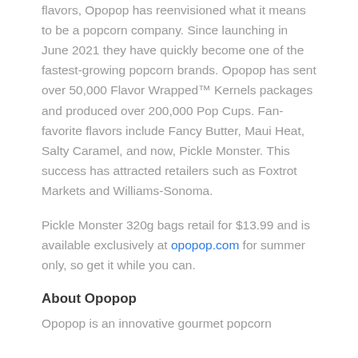flavors, Opopop has reenvisioned what it means to be a popcorn company. Since launching in June 2021 they have quickly become one of the fastest-growing popcorn brands. Opopop has sent over 50,000 Flavor Wrapped™ Kernels packages and produced over 200,000 Pop Cups. Fan-favorite flavors include Fancy Butter, Maui Heat, Salty Caramel, and now, Pickle Monster. This success has attracted retailers such as Foxtrot Markets and Williams-Sonoma.
Pickle Monster 320g bags retail for $13.99 and is available exclusively at opopop.com for summer only, so get it while you can.
About Opopop
Opopop is an innovative gourmet popcorn